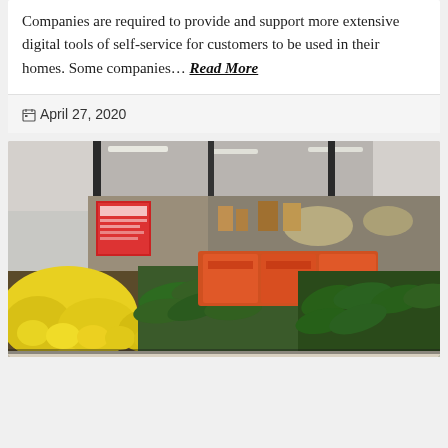Companies are required to provide and support more extensive digital tools of self-service for customers to be used in their homes. Some companies… Read More
April 27, 2020
[Figure (photo): Interior photo of a grocery store produce section showing shelves of yellow lemons in the foreground, green vegetables (cucumbers, peppers), orange packaged items, and store aisles with lighting in the background. A red sign is visible on the left side.]